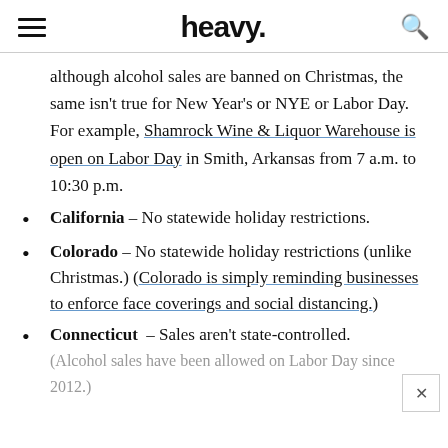heavy.
although alcohol sales are banned on Christmas, the same isn't true for New Year's or NYE or Labor Day. For example, Shamrock Wine & Liquor Warehouse is open on Labor Day in Smith, Arkansas from 7 a.m. to 10:30 p.m.
California – No statewide holiday restrictions.
Colorado – No statewide holiday restrictions (unlike Christmas.) (Colorado is simply reminding businesses to enforce face coverings and social distancing.)
Connecticut – Sales aren't state-controlled. (Alcohol sales have been allowed on Labor Day since 2012.)